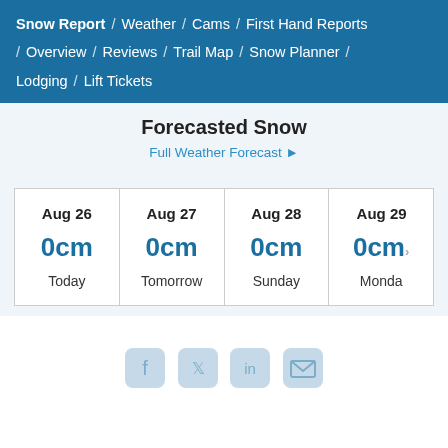Snow Report / Weather / Cams / First Hand Reports / Overview / Reviews / Trail Map / Snow Planner / Lodging / Lift Tickets
Forecasted Snow
Full Weather Forecast ▸
| Aug 26 | Aug 27 | Aug 28 | Aug 29 |
| --- | --- | --- | --- |
| 0cm | 0cm | 0cm | 0cm |
| Today | Tomorrow | Sunday | Monday |
[Figure (other): Social media share icons: Facebook, Twitter, LinkedIn, Email]